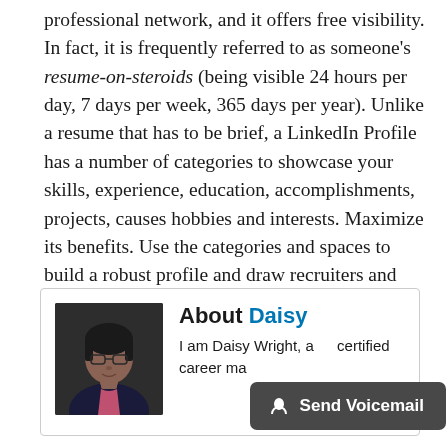professional network, and it offers free visibility. In fact, it is frequently referred to as someone's resume-on-steroids (being visible 24 hours per day, 7 days per week, 365 days per year). Unlike a resume that has to be brief, a LinkedIn Profile has a number of categories to showcase your skills, experience, education, accomplishments, projects, causes hobbies and interests. Maximize its benefits. Use the categories and spaces to build a robust profile and draw recruiters and potential contacts to you rather than scaring them away.
[Figure (photo): Photo of Daisy Wright, a woman with dark hair and glasses, posed with hand near chin]
About Daisy — I am Daisy Wright, a ... certified career ma...